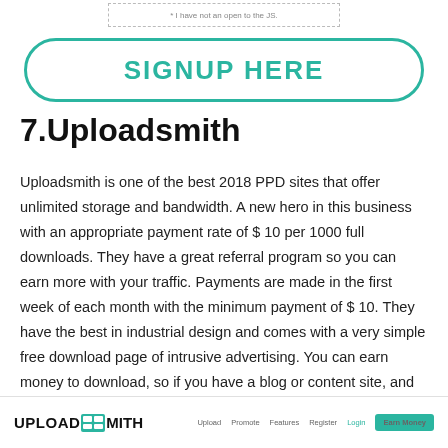[Figure (screenshot): Partial dashed-border box fragment at top of page with small text]
SIGNUP HERE
7.Uploadsmith
Uploadsmith is one of the best 2018 PPD sites that offer unlimited storage and bandwidth. A new hero in this business with an appropriate payment rate of $ 10 per 1000 full downloads. They have a great referral program so you can earn more with your traffic. Payments are made in the first week of each month with the minimum payment of $ 10. They have the best in industrial design and comes with a very simple free download page of intrusive advertising. You can earn money to download, so if you have a blog or content site, and people download it, you're in the right place.
[Figure (screenshot): Uploadsmith website header screenshot showing logo, navigation links (Upload, Promote, Features, Register, Login) and Earn Money button]